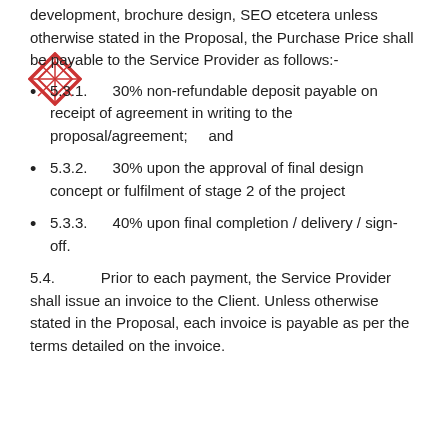development, brochure design, SEO etcetera unless otherwise stated in the Proposal, the Purchase Price shall be payable to the Service Provider as follows:-
5.3.1.      30% non-refundable deposit payable on receipt of agreement in writing to the proposal/agreement;     and
5.3.2.      30% upon the approval of final design concept or fulfilment of stage 2 of the project
5.3.3.      40% upon final completion / delivery / sign-off.
5.4.          Prior to each payment, the Service Provider shall issue an invoice to the Client. Unless otherwise stated in the Proposal, each invoice is payable as per the terms detailed on the invoice.